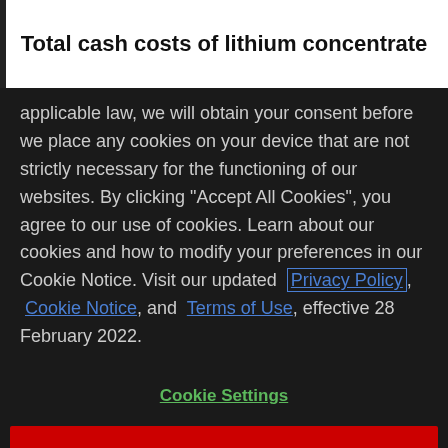Total cash costs of lithium concentrate
applicable law, we will obtain your consent before we place any cookies on your device that are not strictly necessary for the functioning of our websites. By clicking "Accept All Cookies", you agree to our use of cookies. Learn about our cookies and how to modify your preferences in our Cookie Notice. Visit our updated Privacy Policy, Cookie Notice, and Terms of Use, effective 28 February 2022.
Cookie Settings